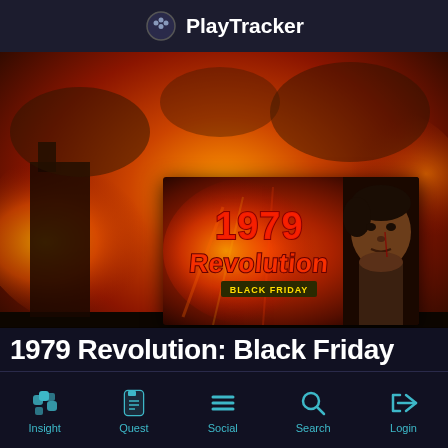PlayTracker
[Figure (screenshot): Screenshot of PlayTracker mobile app showing the game page for 1979 Revolution: Black Friday, with a fiery explosion background and game banner featuring the title logo and a character's face]
1979 Revolution: Black Friday
Insight | Quest | Social | Search | Login